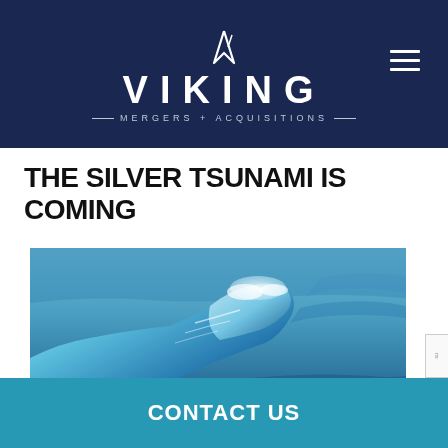[Figure (logo): Viking Mergers + Acquisitions logo on dark navy background with a stylized V/sail icon above the wordmark VIKING and subtitle MERGERS + ACQUISITIONS with horizontal rule decorations]
THE SILVER TSUNAMI IS COMING
[Figure (photo): Close-up photograph of a large ocean wave curling with blue-white water and foam]
CONTACT US